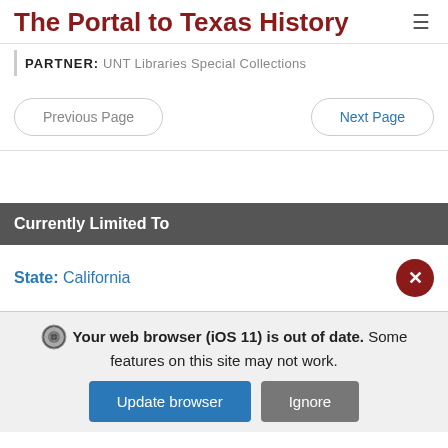The Portal to Texas History
PARTNER: UNT Libraries Special Collections
Previous Page
Next Page
Currently Limited To
State: California
Your web browser (iOS 11) is out of date. Some features on this site may not work.
Update browser
Ignore